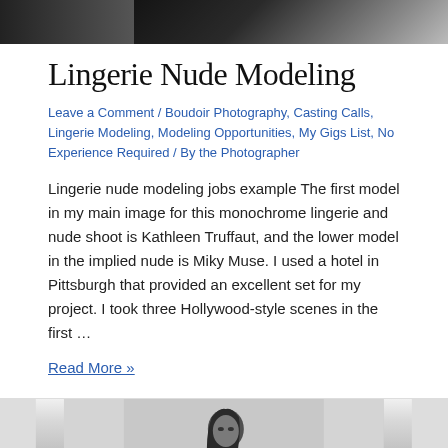[Figure (photo): Top portion of a black and white photography image, cropped at the top of the page]
Lingerie Nude Modeling
Leave a Comment / Boudoir Photography, Casting Calls, Lingerie Modeling, Modeling Opportunities, My Gigs List, No Experience Required / By the Photographer
Lingerie nude modeling jobs example The first model in my main image for this monochrome lingerie and nude shoot is Kathleen Truffaut, and the lower model in the implied nude is Miky Muse. I used a hotel in Pittsburgh that provided an excellent set for my project. I took three Hollywood-style scenes in the first …
Read More »
[Figure (photo): Black and white photo of a female model with dark hair, looking over her shoulder, wearing lingerie, photographed in a studio or hotel setting]